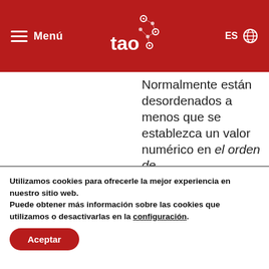Menú | TAO logo | ES
Normalmente están desordenados a menos que se establezca un valor numérico en el orden de
Utilizamos cookies para ofrecerle la mejor experiencia en nuestro sitio web.
Puede obtener más información sobre las cookies que utilizamos o desactivarlas en la configuración.